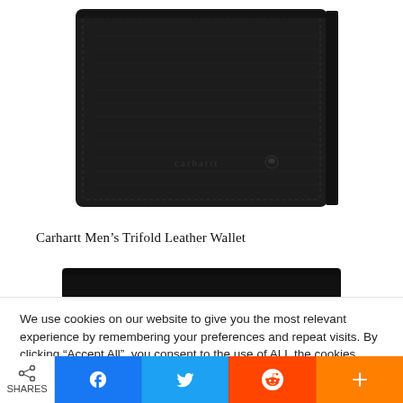[Figure (photo): Black Carhartt Men's Trifold Leather Wallet photographed from above/front against white background, showing the closed wallet with Carhartt logo embossed on front.]
Carhartt Men’s Trifold Leather Wallet
[Figure (photo): Partial view of a second wallet product, cropped at bottom of content area.]
We use cookies on our website to give you the most relevant experience by remembering your preferences and repeat visits. By clicking “Accept All”, you consent to the use of ALL the cookies. However, you may visit "Cookie Settings" to provide a controlled consent.
Cookie Settings   Accept All
SHARES